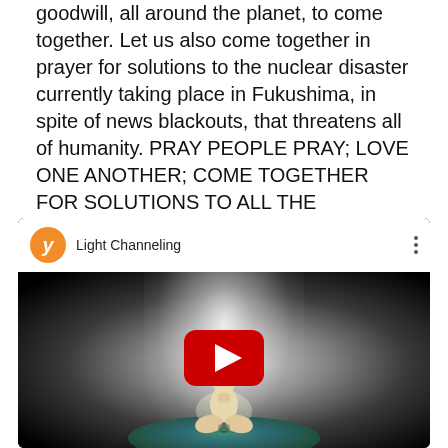World Trade Center. Now is the time for people of goodwill, all around the planet, to come together. Let us also come together in prayer for solutions to the nuclear disaster currently taking place in Fukushima, in spite of news blackouts, that threatens all of humanity. PRAY PEOPLE PRAY; LOVE ONE ANOTHER; COME TOGETHER FOR SOLUTIONS TO ALL THE CHALLENGES OF 9.11 AND 3.11 XOXOXOX
[Figure (screenshot): YouTube video embed showing 'Light Channeling' with a YouTube logo avatar, video title, three-dot menu, and a thumbnail of a meditating figure glowing with light on top of a globe, with a large YouTube play button in the center.]